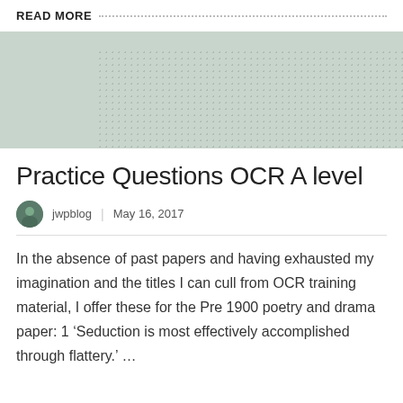READ MORE
[Figure (illustration): Light grey-green banner image with dotted pattern on the right side]
Practice Questions OCR A level
jwpblog  |  May 16, 2017
In the absence of past papers and having exhausted my imagination and the titles I can cull from OCR training material, I offer these for the Pre 1900 poetry and drama paper: 1 ‘Seduction is most effectively accomplished through flattery.’ …